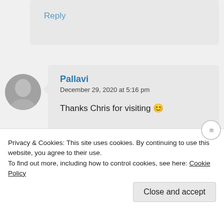Reply
Pallavi
December 29, 2020 at 5:16 pm
Thanks Chris for visiting 😊
★ Liked by 1 person
Reply
Privacy & Cookies: This site uses cookies. By continuing to use this website, you agree to their use.
To find out more, including how to control cookies, see here: Cookie Policy
Close and accept